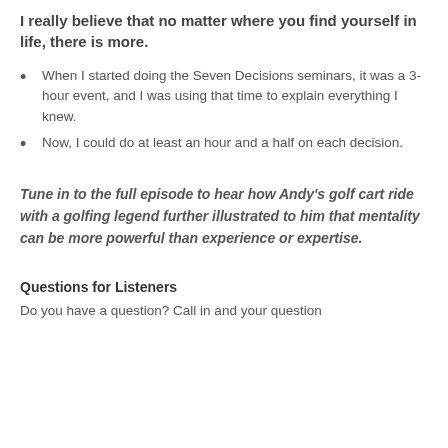I really believe that no matter where you find yourself in life, there is more.
When I started doing the Seven Decisions seminars, it was a 3-hour event, and I was using that time to explain everything I knew.
Now, I could do at least an hour and a half on each decision.
Tune in to the full episode to hear how Andy’s golf cart ride with a golfing legend further illustrated to him that mentality can be more powerful than experience or expertise.
Questions for Listeners
Do you have a question? Call in and your question